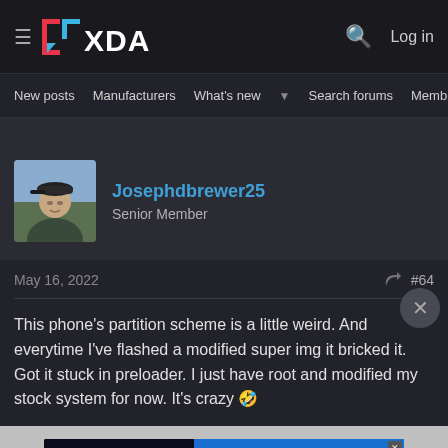XDA — Log in
New posts  Manufacturers  What's new  Search forums  Members
Josephdbrewer25
Senior Member
May 16, 2022  #64
This phone's partition scheme is a little weird. And everytime I've flashed a modified super img it bricked it. Got it stuck in preloader. I just have root and modified my stock system for now. It's crazy 🤣
[Figure (other): Disney Bundle advertisement: hulu | Disney+ | ESPN+ — GET THE DISNEY BUNDLE. Incl. Hulu (ad-supported) or Hulu (No Ads). Access content from each service separately. ©2021 Disney and its related entities]